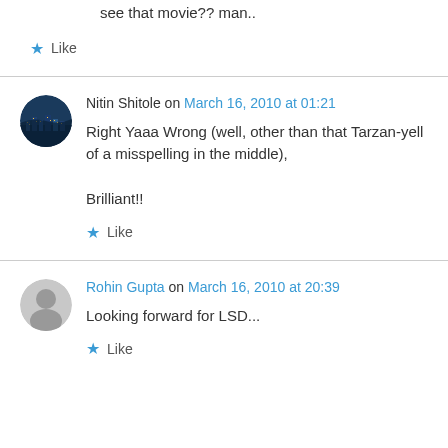see that movie?? man..
★ Like
Nitin Shitole on March 16, 2010 at 01:21
Right Yaaa Wrong (well, other than that Tarzan-yell of a misspelling in the middle),

Brilliant!!
★ Like
Rohin Gupta on March 16, 2010 at 20:39
Looking forward for LSD...
★ Like